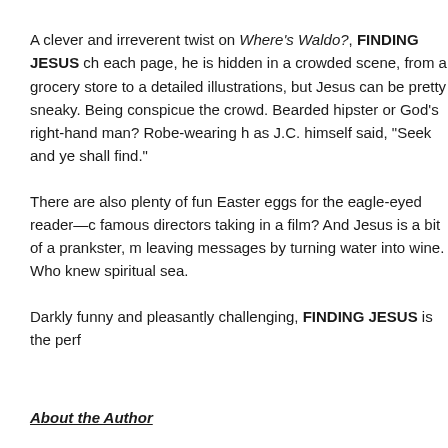A clever and irreverent twist on Where's Waldo?, FINDING JESUS ch each page, he is hidden in a crowded scene, from a grocery store to a detailed illustrations, but Jesus can be pretty sneaky. Being conspicue the crowd. Bearded hipster or God's right-hand man? Robe-wearing h as J.C. himself said, "Seek and ye shall find."
There are also plenty of fun Easter eggs for the eagle-eyed reader—c famous directors taking in a film? And Jesus is a bit of a prankster, m leaving messages by turning water into wine. Who knew spiritual sea.
Darkly funny and pleasantly challenging, FINDING JESUS is the perf
About the Author
WINSTON ROWNTREE is a columnist at the world's most-visited hu strip Subnormality.